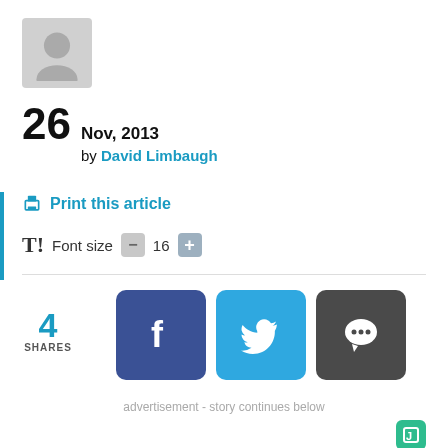[Figure (illustration): Gray avatar/profile placeholder image]
26 Nov, 2013 by David Limbaugh
Print this article
Font size - 16 +
4 SHARES
[Figure (infographic): Social share buttons: Facebook, Twitter, Comments]
advertisement - story continues below